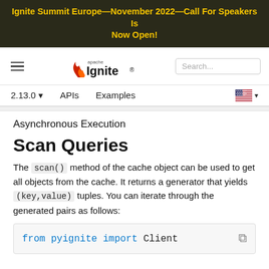Ignite Summit Europe—November 2022—Call For Speakers Is Now Open!
[Figure (logo): Apache Ignite logo with hamburger menu and search bar navigation]
Asynchronous Execution
Scan Queries
The scan() method of the cache object can be used to get all objects from the cache. It returns a generator that yields (key,value) tuples. You can iterate through the generated pairs as follows:
from pyignite import Client